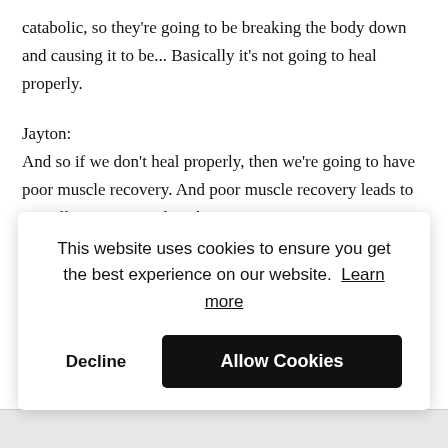catabolic, so they're going to be breaking the body down and causing it to be... Basically it's not going to heal properly.
Jayton:
And so if we don't heal properly, then we're going to have poor muscle recovery. And poor muscle recovery leads to overall negative results whenever it comes to increasing performance. And so whenever we allow our body to have
This website uses cookies to ensure you get the best experience on our website. Learn more
Decline
Allow Cookies